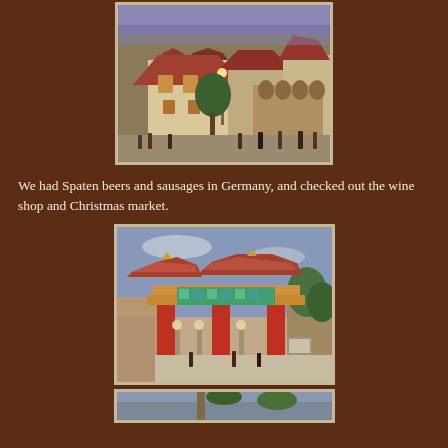[Figure (photo): Dusk photo of the Germany pavilion at EPCOT, showing Bavarian-style buildings with red rooftops, lit lanterns, and visitors walking in the plaza.]
We had Spaten beers and sausages in Germany, and checked out the wine shop and Christmas market.
[Figure (photo): Photo of an ornate Chinese-style gate/arch at EPCOT's China pavilion, featuring red columns, decorative green and teal trim, and visitors below.]
[Figure (photo): Partial photo at bottom of page, partially cut off, showing another EPCOT pavilion scene.]